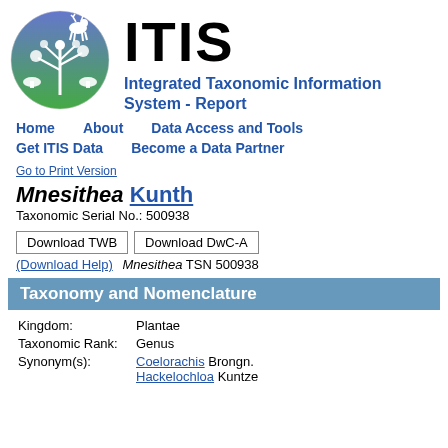[Figure (logo): ITIS circular logo with white silhouettes of a deer, plants, mushrooms, and flowers on a blue-green gradient background]
ITIS
Integrated Taxonomic Information System - Report
Home   About   Data Access and Tools
Get ITIS Data   Become a Data Partner
Go to Print Version
Mnesithea Kunth
Taxonomic Serial No.: 500938
Download TWB   Download DwC-A   (Download Help) Mnesithea TSN 500938
Taxonomy and Nomenclature
| Field | Value |
| --- | --- |
| Kingdom: | Plantae |
| Taxonomic Rank: | Genus |
| Synonym(s): | Coelorachis Brongn.
Hackelochloa Kuntze |